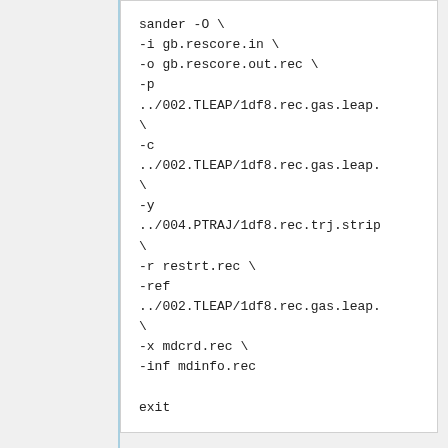sander -O \
-i gb.rescore.in \
-o gb.rescore.out.rec \
-p
../002.TLEAP/1df8.rec.gas.leap.
\
-c
../002.TLEAP/1df8.rec.gas.leap.
\
-y
../004.PTRAJ/1df8.rec.trj.strip
\
-r restrt.rec \
-ref
../002.TLEAP/1df8.rec.gas.leap.
\
-x mdcrd.rec \
-inf mdinfo.rec

exit
Change "run_sander.rescore.csh" into...